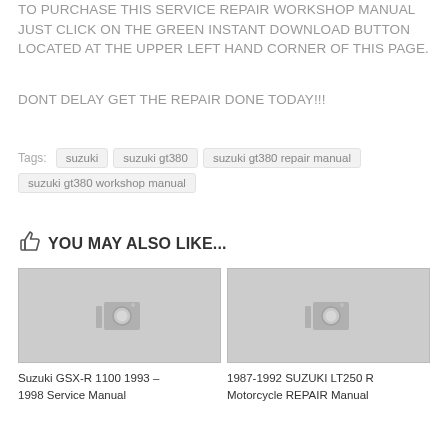TO PURCHASE THIS SERVICE REPAIR WORKSHOP MANUAL JUST CLICK ON THE GREEN INSTANT DOWNLOAD BUTTON LOCATED AT THE UPPER LEFT HAND CORNER OF THIS PAGE.
DONT DELAY GET THE REPAIR DONE TODAY!!!
Tags: suzuki  suzuki gt380  suzuki gt380 repair manual  suzuki gt380 workshop manual
YOU MAY ALSO LIKE...
[Figure (photo): Placeholder image with camera icon for Suzuki GSX-R 1100 1993 - 1998 Service Manual]
Suzuki GSX-R 1100 1993 – 1998 Service Manual
[Figure (photo): Placeholder image with camera icon for 1987-1992 SUZUKI LT250 R Motorcycle REPAIR Manual]
1987-1992 SUZUKI LT250 R Motorcycle REPAIR Manual